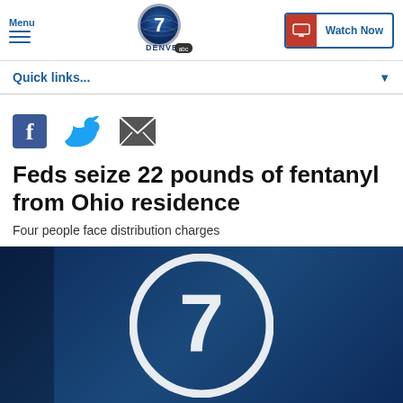Menu | Denver 7 ABC | Watch Now
Quick links...
[Figure (other): Social share icons: Facebook, Twitter, Email]
Feds seize 22 pounds of fentanyl from Ohio residence
Four people face distribution charges
[Figure (screenshot): Denver 7 ABC logo watermark on dark blue background — news broadcast image placeholder]